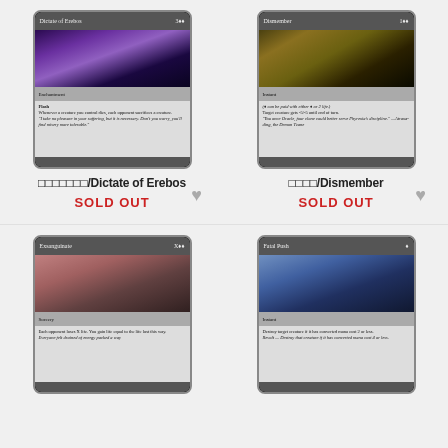[Figure (illustration): Magic: The Gathering card - Dictate of Erebos, black enchantment card with purple-eyed face artwork]
□□□□□□□/Dictate of Erebos
SOLD OUT
[Figure (illustration): Magic: The Gathering card - Dismember, black instant card with dark creature artwork]
□□□□/Dismember
SOLD OUT
[Figure (illustration): Magic: The Gathering card - Exsanguinate, black sorcery card with draining creature artwork]
[Figure (illustration): Magic: The Gathering card - Fatal Push, black instant card with warrior artwork]